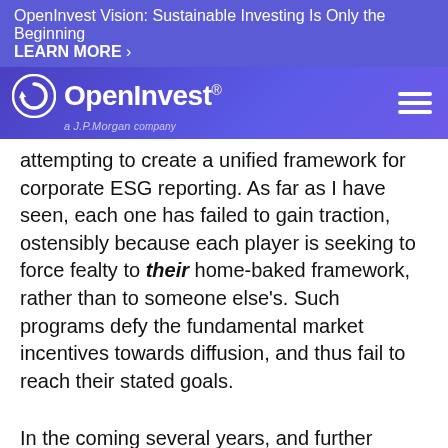OpenInvest Vision: Sustainable Investing Is Only the Beginning
LEARN MORE ›
[Figure (logo): OpenInvest logo with circular arrow icon, white text on purple/indigo gradient background, with 'a J.P.Morgan company' subtitle. Hamburger menu icon on right.]
attempting to create a unified framework for corporate ESG reporting. As far as I have seen, each one has failed to gain traction, ostensibly because each player is seeking to force fealty to their home-baked framework, rather than to someone else's. Such programs defy the fundamental market incentives towards diffusion, and thus fail to reach their stated goals.
In the coming several years, and further accelerating this phenomenon, a number of venture-backed startups, many of whom are using/claiming machine learning approaches, will complement the old guard of ESG data providers. They will be less willing to force fealty to